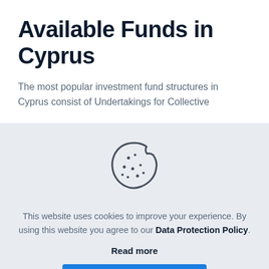Available Funds in Cyprus
The most popular investment fund structures in Cyprus consist of Undertakings for Collective
[Figure (illustration): Cookie icon — a round cookie with a bite taken out of the upper right, with several dots/crumbs on its surface, rendered as a simple outline in dark gray.]
This website uses cookies to improve your experience. By using this website you agree to our Data Protection Policy.
Read more
Accept all